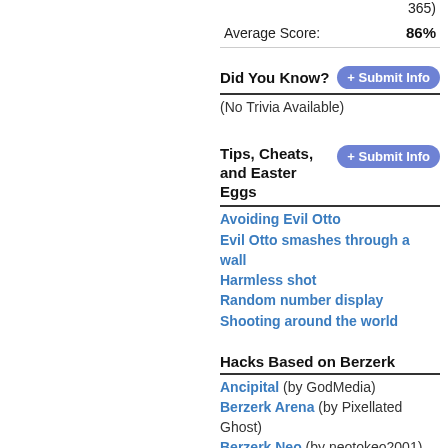365)
Average Score: 86%
Did You Know?
(No Trivia Available)
Tips, Cheats, and Easter Eggs
Avoiding Evil Otto
Evil Otto smashes through a wall
Harmless shot
Random number display
Shooting around the world
Hacks Based on Berzerk
Ancipital (by GodMedia)
Berzerk Arena (by Pixellated Ghost)
Berzerk Neo (by neotokeo2001)
Berzerk Voice Enhanced (by Mike Mika)
Borg Wars IV (by Atari Troll)
Bunny BZRK (by Snorlaxnut)
Doomzerk (by Eduardo)
Dr. Who: Dalek Invasion (by Jamcat)
Mr. Roboto (by Paul Slocum)
Otto's Revenge (by Krytol)
Pac-zerk Voice Enhanced (by neotokeo2001)
Pink Floyd: The Wall (by Rory Laws, Jr.)